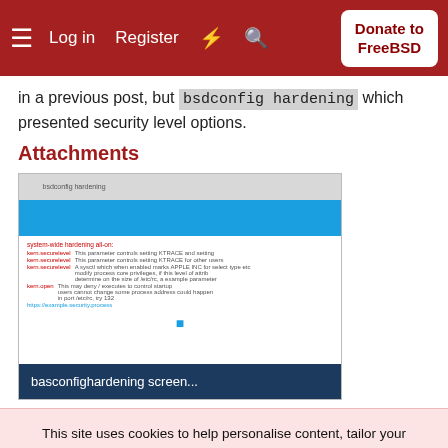Log in  Register  [flash icon]  [search icon]  Donate to FreeBSD
in a previous post, but bsdconfig hardening which presented security level options.
Attachments
[Figure (screenshot): A blurred screenshot of a bsdconfig hardening screen, showing a grey header bar, a bright blue selection bar, and rows of configuration options in small text. The filename label reads 'basconfighardening screen...']
This site uses cookies to help personalise content, tailor your experience and to keep you logged in if you register. By continuing to use this site, you are consenting to our use of cookies.
✓ Accept   Learn more...